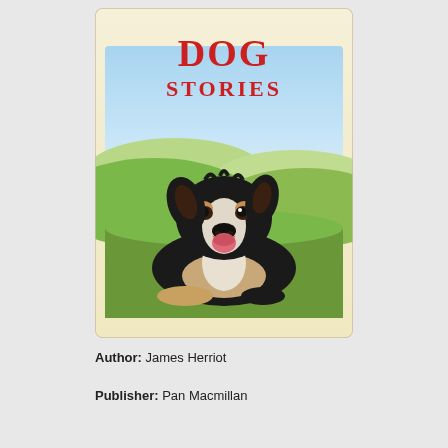[Figure (illustration): Book cover showing a border collie dog lying in a green field with rolling hills and blue sky in background. Red text at top reads 'DOG STORIES' on a cream/beige background.]
Author: James Herriot
Publisher: Pan Macmillan